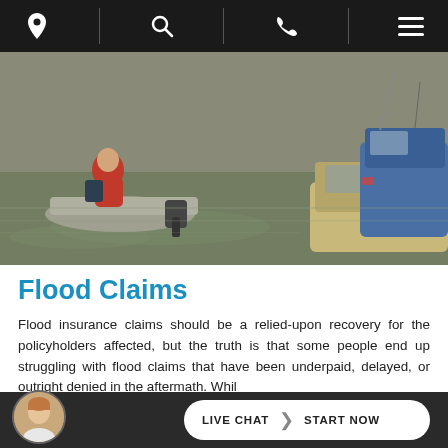Navigation bar with location, search, phone, and menu icons
[Figure (photo): Flood rescue scene showing a person in a red life vest on a motorboat in murky flood waters, with a partially submerged pickup truck and blue SUV visible in the background]
Flood Claims
Flood insurance claims should be a relied-upon recovery for the policyholders affected, but the truth is that some people end up struggling with flood claims that have been underpaid, delayed, or outright denied in the aftermath. While...
LIVE CHAT  START NOW